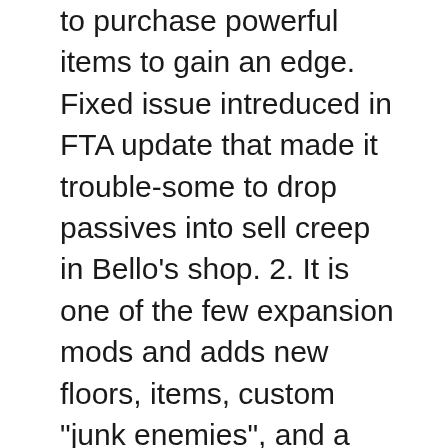to purchase powerful items to gain an edge. Fixed issue intreduced in FTA update that made it trouble-some to drop passives into sell creep in Bello's shop. 2. It is one of the few expansion mods and adds new floors, items, custom "junk enemies", and a custom boss. Three new secret floors! 16. TheTurtleMelon for name idea of mod and for custom room designs used on normal floors. Clones another active or passive when used while said active/passive is spawned/near the player. This secret room can appear in places you won't expect one to fit so be on the look out! Enter the Gungeon; Follow. Sometimes all enemies get targeted while other times only a few do. The few Winchester gun game rooms that appear in dungeons where dungeons. After